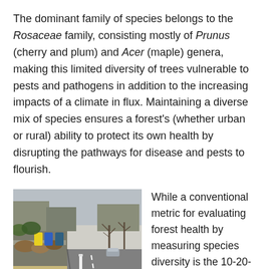The dominant family of species belongs to the Rosaceae family, consisting mostly of Prunus (cherry and plum) and Acer (maple) genera, making this limited diversity of trees vulnerable to pests and pathogens in addition to the increasing impacts of a climate in flux. Maintaining a diverse mix of species ensures a forest's (whether urban or rural) ability to protect its own health by disrupting the pathways for disease and pests to flourish.
[Figure (photo): Street scene showing a sidewalk with tree logs and bins along a residential road with bare trees and houses in the background.]
While a conventional metric for evaluating forest health by measuring species diversity is the 10-20-30 rule: no more than 10% of one species, 20% of one genus and 30% of one family, the Albina Releaf project proposes that in the face of climate change and considering Portland's temperate conditions that